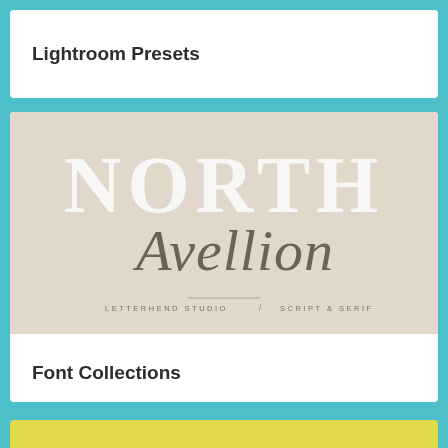Lightroom Presets
[Figure (illustration): Font showcase image on a beige/linen textured background showing 'NORTH' in large white serif letters and 'Avellion' in cursive script below it, with 'LETTERHEND STUDIO / SCRIPT & SERIF' text at the bottom]
Font Collections